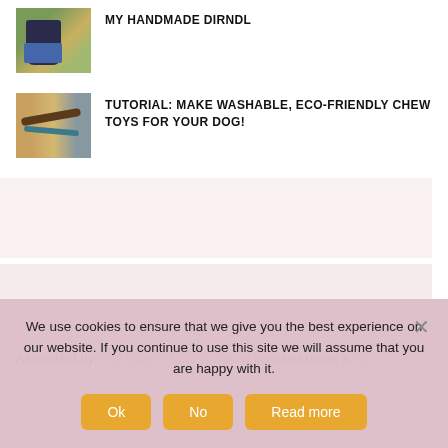[Figure (photo): Thumbnail of a person wearing a dirndl in a field]
MY HANDMADE DIRNDL
[Figure (photo): Thumbnail of washable chew toys for dogs]
TUTORIAL: MAKE WASHABLE, ECO-FRIENDLY CHEW TOYS FOR YOUR DOG!
[Figure (other): Advertisement block 1 (pink background)]
[Figure (other): Advertisement block 2 (pink background)]
All content by This Blog Is Not For You is licensed under a CC
We use cookies to ensure that we give you the best experience on our website. If you continue to use this site we will assume that you are happy with it.